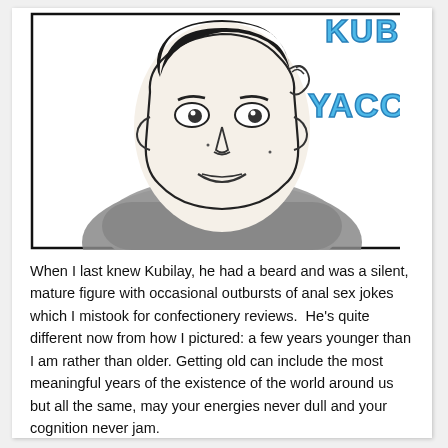[Figure (illustration): Hand-drawn illustration of a young man's face and upper body. The face is drawn in black ink with simple lines showing eyes, nose, and a slight smile. The shoulders and chest are shaded in gray pencil/watercolor suggesting a dark shirt. In the upper right corner, partially visible blue bubble letters spell 'KUBI' (top) and 'YACCI' (bottom), suggesting the name 'Kubi Yacci' or similar. The drawing is contained within a roughly rectangular black border.]
When I last knew Kubilay, he had a beard and was a silent, mature figure with occasional outbursts of anal sex jokes which I mistook for confectionery reviews.  He's quite different now from how I pictured: a few years younger than I am rather than older. Getting old can include the most meaningful years of the existence of the world around us but all the same, may your energies never dull and your cognition never jam.